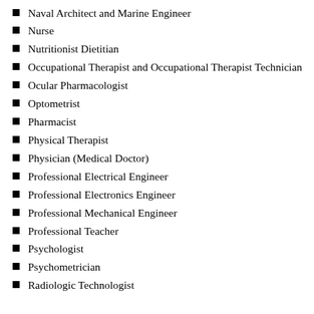Naval Architect and Marine Engineer
Nurse
Nutritionist Dietitian
Occupational Therapist and Occupational Therapist Technician
Ocular Pharmacologist
Optometrist
Pharmacist
Physical Therapist
Physician (Medical Doctor)
Professional Electrical Engineer
Professional Electronics Engineer
Professional Mechanical Engineer
Professional Teacher
Psychologist
Psychometrician
Radiologic Technologist